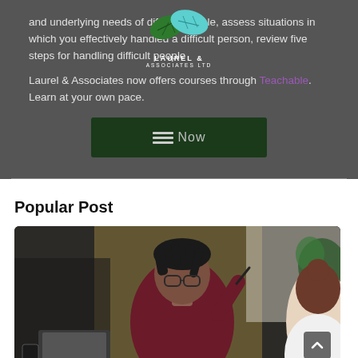and underlying needs of difficult people, assess situations in which you effectively handled a difficult person, review five steps for handling difficult people
[Figure (logo): Laurel & Associates Ltd logo with green leaf graphic above text LAUREL & ASSOCIATES LTD]
Laurel & Associates now offers courses through Teachable. Learn at your own pace.
Register Now
Popular Post
[Figure (photo): Photo of a man with dreadlocks wearing glasses and a dark maroon long-sleeve shirt, gesturing with a pen while talking, with a woman with brown hair in a bun visible on the right, laptop and coffee mug visible in background]